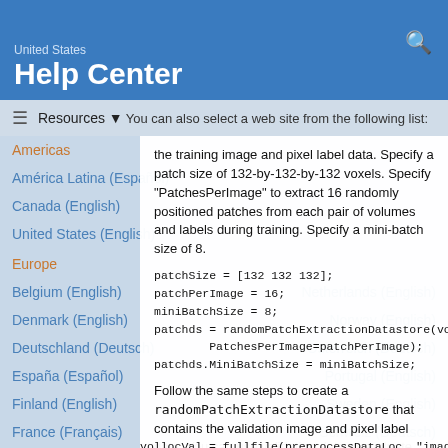United States
Help Center
You can also select a web site from the following list:
Resources
Americas
América Latina (Español)
Canada (English)
United States (English)
Europe
Belgium (English)
Netherlands (English)
Denmark (English)
Norway (English)
Deutschland (Deutsch)
Österreich (Deutsch)
España (Español)
Portugal (English)
Finland (English)
Sweden (English)
France (Français)
Schweiz (Deutsch)
Ireland (English)
Deutsch
the training image and pixel label data. Specify a patch size of 132-by-132-by-132 voxels. Specify "PatchesPerImage" to extract 16 randomly positioned patches from each pair of volumes and labels during training. Specify a mini-batch size of 8.
Follow the same steps to create a randomPatchExtractionDatastore that contains the validation image and pixel label data. You can use validation data to evaluate whether the network is continuously learning, underfitting, or overfitting as time progresses.
vollocVal = fullfile(preprocessDataLoc, "images ...